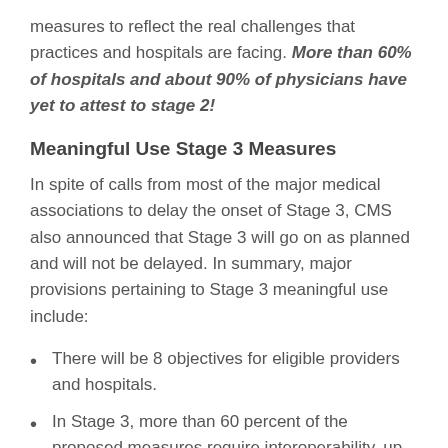measures to reflect the real challenges that practices and hospitals are facing. More than 60% of hospitals and about 90% of physicians have yet to attest to stage 2!
Meaningful Use Stage 3 Measures
In spite of calls from most of the major medical associations to delay the onset of Stage 3, CMS also announced that Stage 3 will go on as planned and will not be delayed. In summary, major provisions pertaining to Stage 3 meaningful use include:
There will be 8 objectives for eligible providers and hospitals.
In Stage 3, more than 60 percent of the proposed measures require interoperability, up from 33 percent in Stage 2.